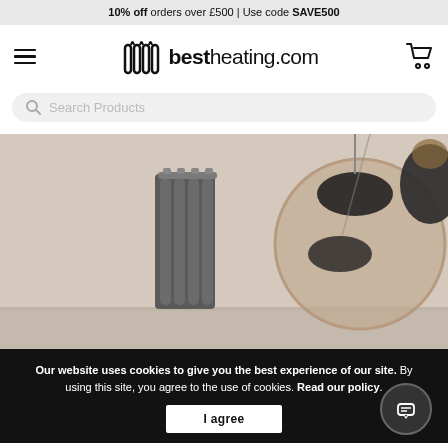10% off orders over £500 | Use code SAVE500
[Figure (logo): bestheating.com logo with radiator icon, hamburger menu on left, shopping cart on right]
Search Products
[Figure (photo): Vertical column radiator in dark grey against a beige wall, with black pendant lamp reflections in a round mirror]
Our website uses cookies to give you the best experience of our site. By using this site, you agree to the use of cookies. Read our policy.
I agree